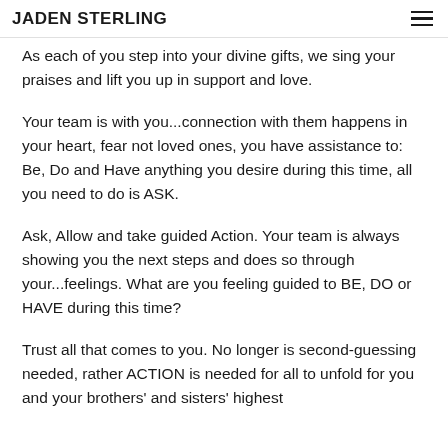JADEN STERLING
As each of you step into your divine gifts, we sing your praises and lift you up in support and love.
Your team is with you...connection with them happens in your heart, fear not loved ones, you have assistance to: Be, Do and Have anything you desire during this time, all you need to do is ASK.
Ask, Allow and take guided Action. Your team is always showing you the next steps and does so through your...feelings. What are you feeling guided to BE, DO or HAVE during this time?
Trust all that comes to you. No longer is second-guessing needed, rather ACTION is needed for all to unfold for you and your brothers' and sisters' highest